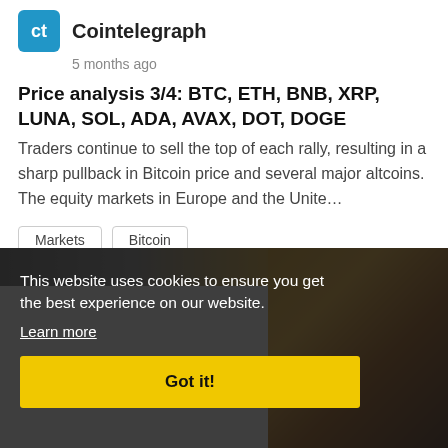Cointelegraph · 5 months ago
Price analysis 3/4: BTC, ETH, BNB, XRP, LUNA, SOL, ADA, AVAX, DOT, DOGE
Traders continue to sell the top of each rally, resulting in a sharp pullback in Bitcoin price and several major altcoins. The equity markets in Europe and the Unite…
Markets
Bitcoin
[Figure (photo): Outdoor sunset photo with palm trees and a bicycle, partially visible behind a cookie consent overlay]
This website uses cookies to ensure you get the best experience on our website.
Learn more
Got it!